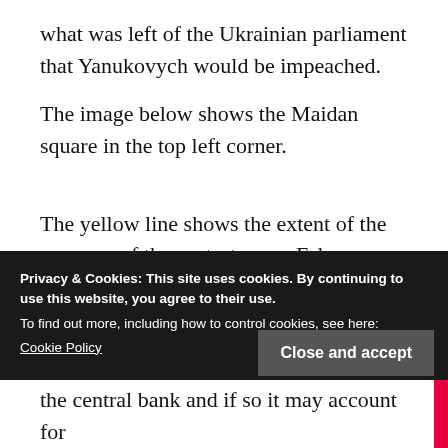what was left of the Ukrainian parliament that Yanukovych would be impeached.
The image below shows the Maidan square in the top left corner.
The yellow line shows the extent of the progress of the protestors on February 20th along Institutskaya Street as they tried to reach the central bank and the Ukrainian parliament (in
Privacy & Cookies: This site uses cookies. By continuing to use this website, you agree to their use.
To find out more, including how to control cookies, see here:
Cookie Policy
Close and accept
the central bank and if so it may account for